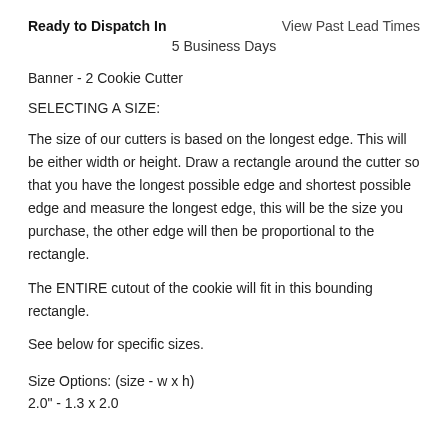Ready to Dispatch In    View Past Lead Times
5 Business Days
Banner - 2 Cookie Cutter
SELECTING A SIZE:
The size of our cutters is based on the longest edge. This will be either width or height. Draw a rectangle around the cutter so that you have the longest possible edge and shortest possible edge and measure the longest edge, this will be the size you purchase, the other edge will then be proportional to the rectangle.
The ENTIRE cutout of the cookie will fit in this bounding rectangle.
See below for specific sizes.
Size Options: (size - w x h)
2.0" - 1.3 x 2.0